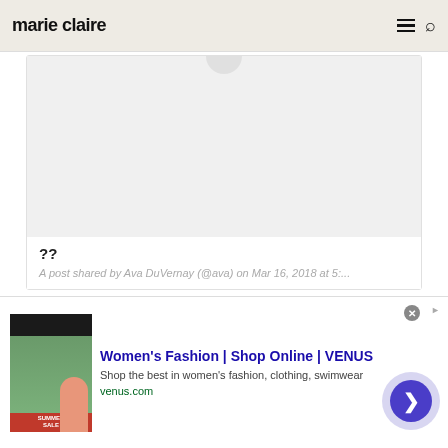marie claire
[Figure (screenshot): Instagram embedded post card with a light gray image area and a partial circular icon at top center, showing an image loading or placeholder state]
??
A post shared by Ava DuVernay (@ava) on Mar 16, 2018 at 5:...
[Figure (screenshot): Advertisement banner for Women's Fashion | Shop Online | VENUS. Shows a promotional image on the left with a summer sale graphic and a person, ad text reading 'Shop the best in women's fashion, clothing, swimwear' and URL venus.com, with a circular arrow button on the right.]